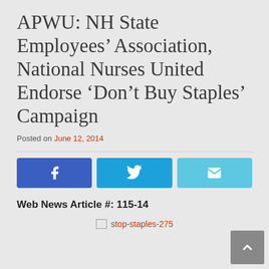APWU: NH State Employees' Association, National Nurses United Endorse 'Don't Buy Staples' Campaign
Posted on June 12, 2014
[Figure (other): Social share buttons: Facebook, Twitter, Email]
Web News Article #: 115-14
[Figure (other): Broken image placeholder for stop-staples-275]